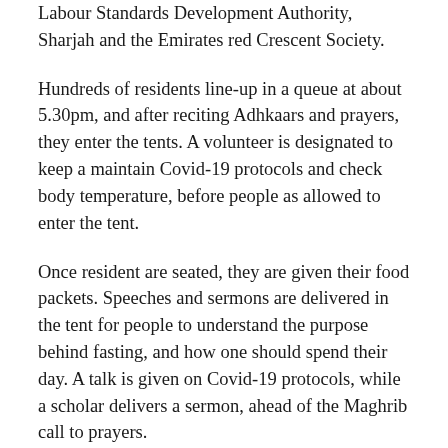Labour Standards Development Authority, Sharjah and the Emirates red Crescent Society.
Hundreds of residents line-up in a queue at about 5.30pm, and after reciting Adhkaars and prayers, they enter the tents. A volunteer is designated to keep a maintain Covid-19 protocols and check body temperature, before people as allowed to enter the tent.
Once resident are seated, they are given their food packets. Speeches and sermons are delivered in the tent for people to understand the purpose behind fasting, and how one should spend their day. A talk is given on Covid-19 protocols, while a scholar delivers a sermon, ahead of the Maghrib call to prayers.
After Iftar is over, the volunteers get together again for the cleaning-up process. “The first task is to clean the tents. Our volunteers collect the waste and pack it for disposal,” Mujeeb said.